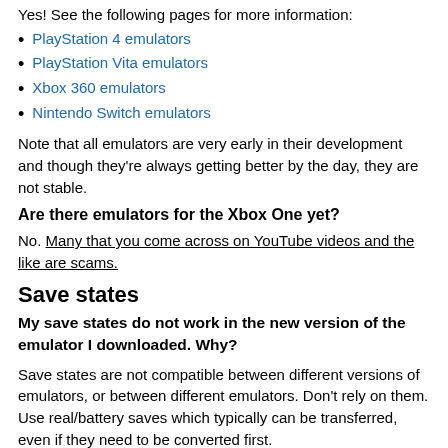Yes! See the following pages for more information:
PlayStation 4 emulators
PlayStation Vita emulators
Xbox 360 emulators
Nintendo Switch emulators
Note that all emulators are very early in their development and though they're always getting better by the day, they are not stable.
Are there emulators for the Xbox One yet?
No. Many that you come across on YouTube videos and the like are scams.
Save states
My save states do not work in the new version of the emulator I downloaded. Why?
Save states are not compatible between different versions of emulators, or between different emulators. Don't rely on them. Use real/battery saves which typically can be transferred, even if they need to be converted first.